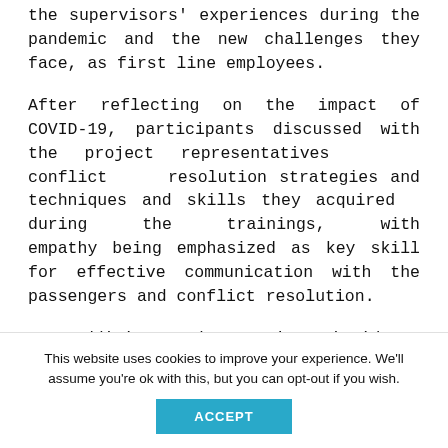the supervisors' experiences during the pandemic and the new challenges they face, as first line employees.
After reflecting on the impact of COVID-19, participants discussed with the project representatives conflict resolution strategies and techniques and skills they acquired during the trainings, with empathy being emphasized as key skill for effective communication with the passengers and conflict resolution.
In addition, the racist incidents recording and reporting form, designed as part of
This website uses cookies to improve your experience. We'll assume you're ok with this, but you can opt-out if you wish.